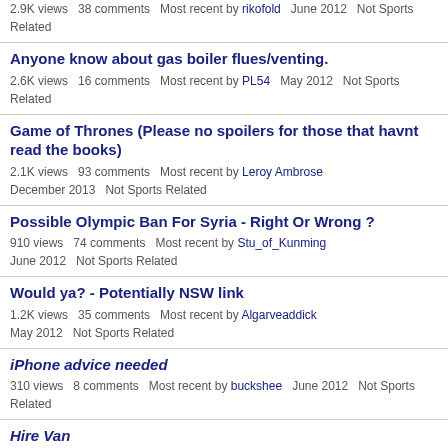2.9K views  38 comments  Most recent by rikofold  June 2012  Not Sports Related
Anyone know about gas boiler flues/venting.
2.6K views  16 comments  Most recent by PL54  May 2012  Not Sports Related
Game of Thrones (Please no spoilers for those that havnt read the books)
2.1K views  93 comments  Most recent by Leroy Ambrose  December 2013  Not Sports Related
Possible Olympic Ban For Syria - Right Or Wrong ?
910 views  74 comments  Most recent by Stu_of_Kunming  June 2012  Not Sports Related
Would ya? - Potentially NSW link
1.2K views  35 comments  Most recent by Algarveaddick  May 2012  Not Sports Related
iPhone advice needed
310 views  8 comments  Most recent by buckshee  June 2012  Not Sports Related
Hire Van
111 views  3 comments  Most recent by Charlton_Charlie
May 2012  Not Sports Related